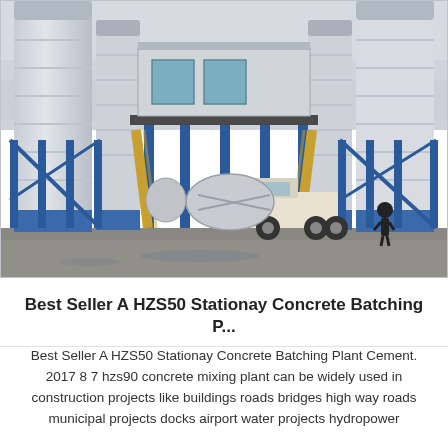[Figure (photo): Photograph of a HZS50 stationary concrete batching plant showing large cylindrical cement silos on left and right, a central elevated building/control room with blue steel frame structure, conveyor belts, and a concrete mixer truck parked underneath, taken outdoors on an overcast day.]
Best Seller A HZS50 Stationay Concrete Batching P...
Best Seller A HZS50 Stationay Concrete Batching Plant Cement. 2017 8 7 hzs90 concrete mixing plant can be widely used in construction projects like buildings roads bridges high way roads municipal projects docks airport water projects hydropower